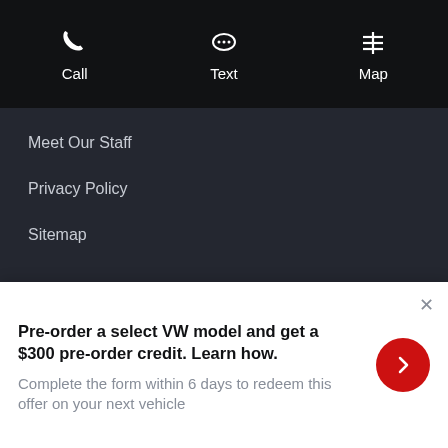Call  Text  Map
Meet Our Staff
Privacy Policy
Sitemap
Maple Volkswagen
Phone: (866) 557-9562
Service: (866) 557-9562
Pre-order a select VW model and get a $300 pre-order credit. Learn how.
Complete the form within 6 days to redeem this offer on your next vehicle